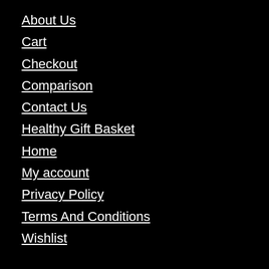About Us
Cart
Checkout
Comparison
Contact Us
Healthy Gift Basket
Home
My account
Privacy Policy
Terms And Conditions
Wishlist